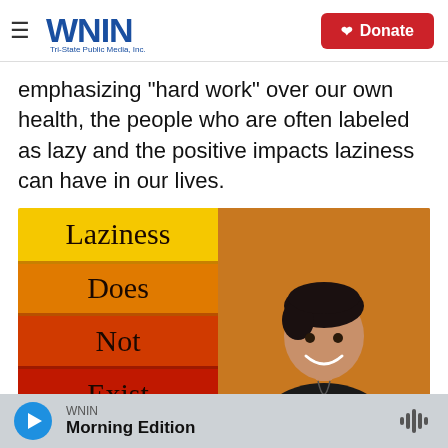WNIN Tri-State Public Media, Inc. — Donate
emphasizing "hard work" over our own health, the people who are often labeled as lazy and the positive impacts laziness can have in our lives.
[Figure (photo): Left: Book cover with stacked colored stripes (yellow, orange, red-orange, red) with the words 'Laziness Does Not Exist' on the stripes. Right: Person smiling against an orange background, wearing a black t-shirt and necklace.]
WNIN — Morning Edition (audio player bar)